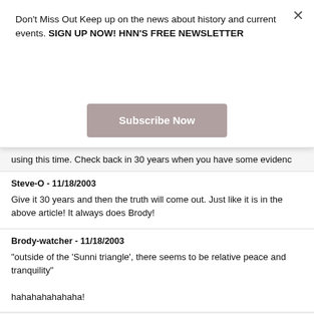Don't Miss Out Keep up on the news about history and current events. SIGN UP NOW! HNN'S FREE NEWSLETTER
Subscribe Now
using this time. Check back in 30 years when you have some evidenc
Steve-O - 11/18/2003
Give it 30 years and then the truth will come out. Just like it is in the above article! It always does Brody!
Brody-watcher - 11/18/2003
"outside of the 'Sunni triangle', there seems to be relative peace and tranquility"
hahahahahahaha!